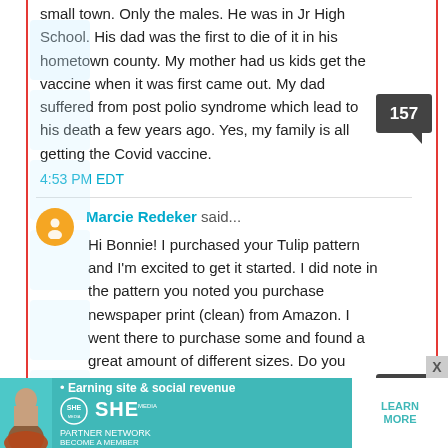small town. Only the males. He was in Jr High School. His dad was the first to die of it in his hometown county. My mother had us kids get the vaccine when it was first came out. My dad suffered from post polio syndrome which lead to his death a few years ago. Yes, my family is all getting the Covid vaccine.
4:53 PM EDT
Marcie Redeker said...
Hi Bonnie! I purchased your Tulip pattern and I'm excited to get it started. I did note in the pattern you noted you purchase newspaper print (clean) from Amazon. I went there to purchase some and found a great amount of different sizes. Do you have a special size that you find is less wasteful? or should I just order any size. Thanks!
5:22 PM EDT
[Figure (infographic): SHE Media Partner Network advertisement banner: Earning site & social revenue, with Learn More button]